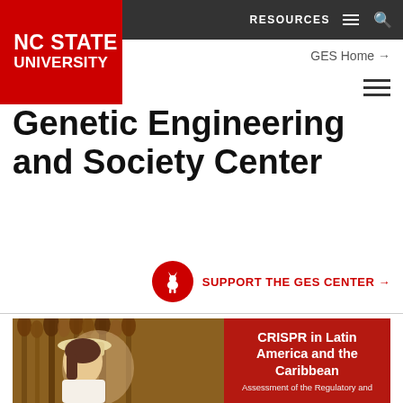NC STATE UNIVERSITY
RESOURCES  GES Home →
Genetic Engineering and Society Center
SUPPORT THE GES CENTER →
[Figure (photo): Woman in white hat and shirt examining sorghum plants in a field, with a red overlay box showing text about CRISPR in Latin America and the Caribbean]
CRISPR in Latin America and the Caribbean
Assessment of the Regulatory and